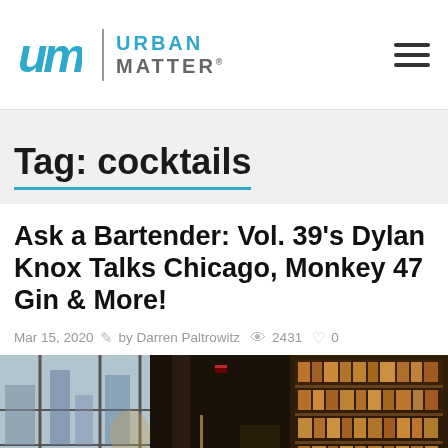um | URBAN MATTER®
Tag: cocktails
Ask a Bartender: Vol. 39's Dylan Knox Talks Chicago, Monkey 47 Gin & More!
Mar 15, 2020   by Darren Paltrowitz   2431   0
[Figure (photo): Interior photograph of an upscale bar/lounge with dark decor, bookshelves with amber-lit bottles on the right, and city street views through large windows on the left.]